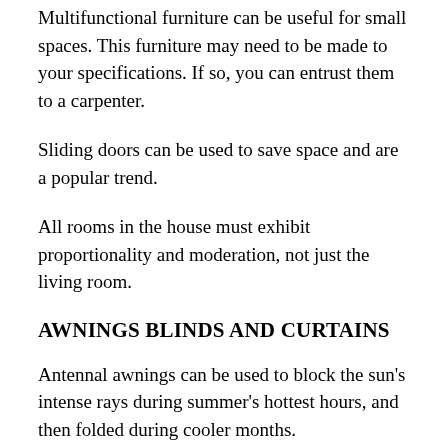Multifunctional furniture can be useful for small spaces. This furniture may need to be made to your specifications. If so, you can entrust them to a carpenter.
Sliding doors can be used to save space and are a popular trend.
All rooms in the house must exhibit proportionality and moderation, not just the living room.
AWNINGS BLINDS AND CURTAINS
Antennal awnings can be used to block the sun's intense rays during summer's hottest hours, and then folded during cooler months.
They work in the same way as blinds to control the amount of light or heat we desire. Because they can be removed, they don't require much maintenance and